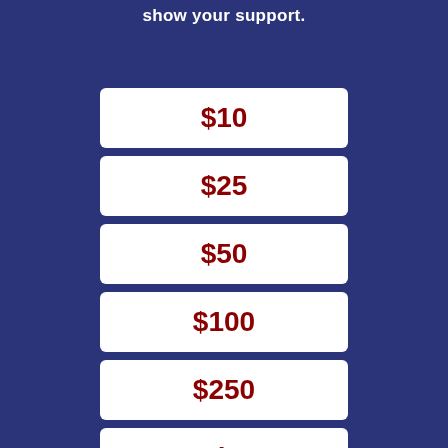show your support.
$10
$25
$50
$100
$250
Other